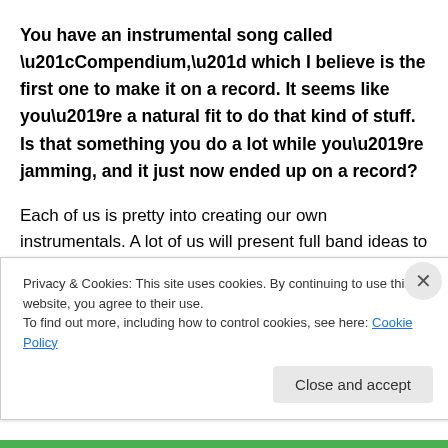You have an instrumental song called “Compendium,” which I believe is the first one to make it on a record. It seems like you’re a natural fit to do that kind of stuff. Is that something you do a lot while you’re jamming, and it just now ended up on a record?
Each of us is pretty into creating our own instrumentals. A lot of us will present full band ideas to each other that are already composed. That was a song idea I had a while back. It was just two guitars and I gave it to Nick and
Privacy & Cookies: This site uses cookies. By continuing to use this website, you agree to their use.
To find out more, including how to control cookies, see here: Cookie Policy